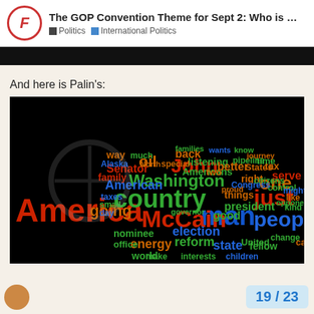The GOP Convention Theme for Sept 2: Who is ... | Politics | International Politics
[Figure (other): Black banner/image strip]
And here is Palin's:
[Figure (infographic): Word cloud on black background featuring political words like America, McCain, country, man, people, Washington, John, going, energy, reform, state, election, etc. in red, green, blue, and orange colors of varying sizes]
19 / 23